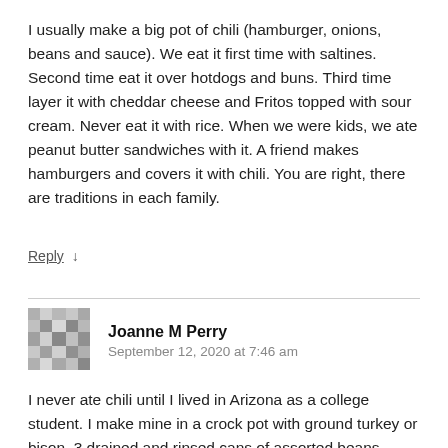I usually make a big pot of chili (hamburger, onions, beans and sauce). We eat it first time with saltines. Second time eat it over hotdogs and buns. Third time layer it with cheddar cheese and Fritos topped with sour cream. Never eat it with rice. When we were kids, we ate peanut butter sandwiches with it. A friend makes hamburgers and covers it with chili. You are right, there are traditions in each family.
Reply ↓
Joanne M Perry
September 12, 2020 at 7:46 am
I never ate chili until I lived in Arizona as a college student. I make mine in a crock pot with ground turkey or bison, 3 drained and rinsed cans of assorted beans (garbanzo, pinto,